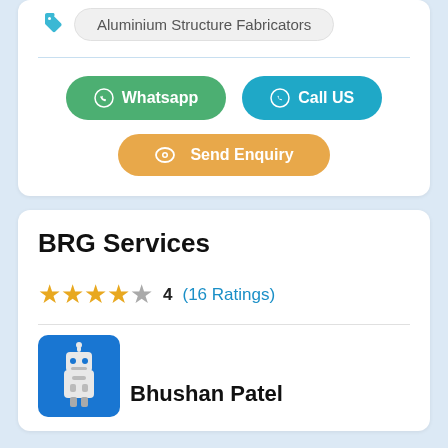Aluminium Structure Fabricators
Whatsapp
Call US
Send Enquiry
BRG Services
4 (16 Ratings)
Bhushan Patel